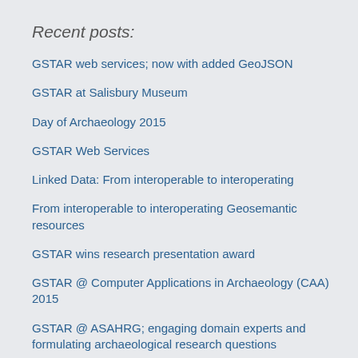Recent posts:
GSTAR web services; now with added GeoJSON
GSTAR at Salisbury Museum
Day of Archaeology 2015
GSTAR Web Services
Linked Data: From interoperable to interoperating
From interoperable to interoperating Geosemantic resources
GSTAR wins research presentation award
GSTAR @ Computer Applications in Archaeology (CAA) 2015
GSTAR @ ASAHRG; engaging domain experts and formulating archaeological research questions
Academic Referencing and citations made even easier
Extending CRMEH with GeoSPARQL
From MPhil to PhD; GSTAR update